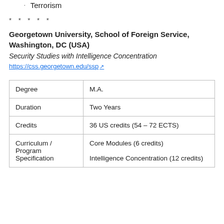Terrorism
* * * * *
Georgetown University, School of Foreign Service, Washington, DC (USA)
Security Studies with Intelligence Concentration
https://css.georgetown.edu/ssp
| Degree | M.A. |
| Duration | Two Years |
| Credits | 36 US credits (54 – 72 ECTS) |
| Curriculum / Program Specification | Core Modules (6 credits)
Intelligence Concentration (12 credits) |